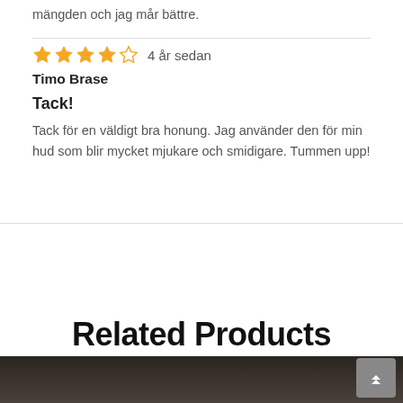mängden och jag mår bättre.
4 år sedan
Timo Brase
Tack!
Tack för en väldigt bra honung. Jag använder den för min hud som blir mycket mjukare och smidigare. Tummen upp!
Related Products